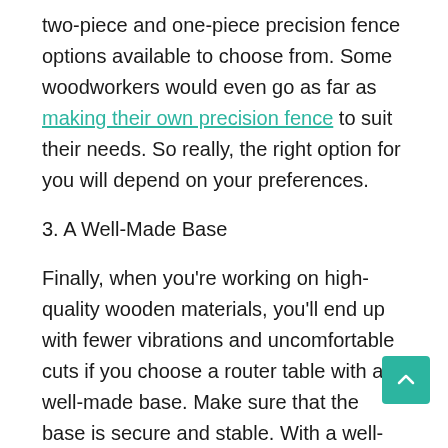two-piece and one-piece precision fence options available to choose from. Some woodworkers would even go as far as making their own precision fence to suit their needs. So really, the right option for you will depend on your preferences.
3. A Well-Made Base
Finally, when you're working on high-quality wooden materials, you'll end up with fewer vibrations and uncomfortable cuts if you choose a router table with a well-made base. Make sure that the base is secure and stable. With a well-made base, you'll find that you spend less time worrying about your safety as you cut, and more time enjoying the creative process.